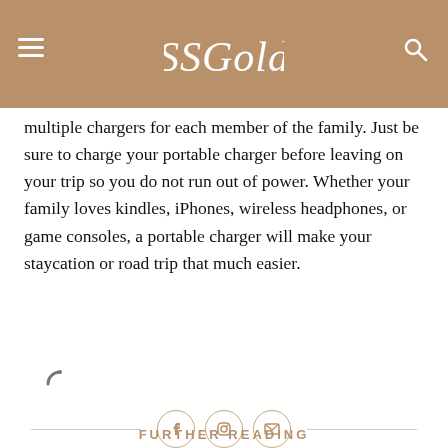SSGold
multiple chargers for each member of the family. Just be sure to charge your portable charger before leaving on your trip so you do not run out of power. Whether your family loves kindles, iPhones, wireless headphones, or game consoles, a portable charger will make your staycation or road trip that much easier.
FURTHER READING